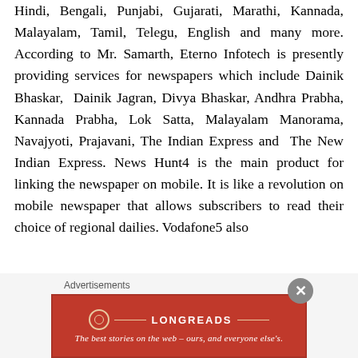Hindi, Bengali, Punjabi, Gujarati, Marathi, Kannada, Malayalam, Tamil, Telegu, English and many more. According to Mr. Samarth, Eterno Infotech is presently providing services for newspapers which include Dainik Bhaskar, Dainik Jagran, Divya Bhaskar, Andhra Prabha, Kannada Prabha, Lok Satta, Malayalam Manorama, Navajyoti, Prajavani, The Indian Express and The New Indian Express. News Hunt4 is the main product for linking the newspaper on mobile. It is like a revolution on mobile newspaper that allows subscribers to read their choice of regional dailies. Vodafone5 also
[Figure (other): Longreads advertisement banner: red background with Longreads logo and tagline 'The best stories on the web — ours, and everyone else's.']